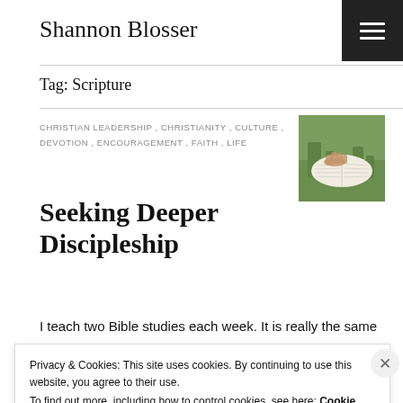Shannon Blosser
Tag: Scripture
CHRISTIAN LEADERSHIP , CHRISTIANITY , CULTURE , DEVOTION , ENCOURAGEMENT , FAITH , LIFE
[Figure (photo): Hands resting on open Bible in green grass]
Seeking Deeper Discipleship
I teach two Bible studies each week. It is really the same Bible study that I then offer to two different the…
Privacy & Cookies: This site uses cookies. By continuing to use this website, you agree to their use.
To find out more, including how to control cookies, see here: Cookie Policy
Close and accept
Advertisements